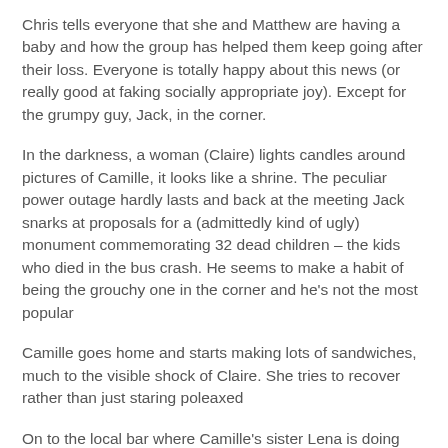Chris tells everyone that she and Matthew are having a baby and how the group has helped them keep going after their loss. Everyone is totally happy about this news (or really good at faking socially appropriate joy). Except for the grumpy guy, Jack, in the corner.
In the darkness, a woman (Claire) lights candles around pictures of Camille, it looks like a shrine. The peculiar power outage hardly lasts and back at the meeting Jack snarks at proposals for a (admittedly kind of ugly) monument commemorating 32 dead children – the kids who died in the bus crash. He seems to make a habit of being the grouchy one in the corner and he's not the most popular
Camille goes home and starts making lots of sandwiches, much to the visible shock of Claire. She tries to recover rather than just staring poleaxed
On to the local bar where Camille's sister Lena is doing shots and, in the back room, Jack gets dressed after clearly having sex with another woman. She's fighting her husband for legal custody and Jack is giving her money. They're